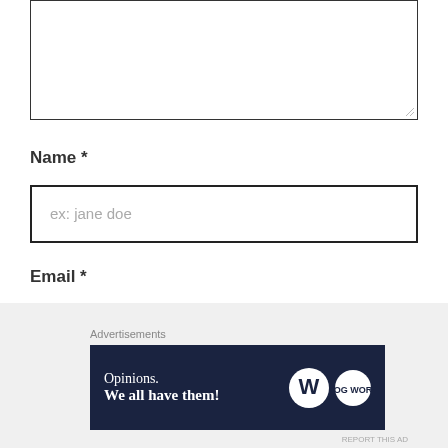[Figure (screenshot): Textarea input box (top, partially visible, empty with resize handle)]
Name *
[Figure (screenshot): Text input field with placeholder 'ex: jane doe']
Email *
[Figure (screenshot): Text input field with placeholder 'ex: janedoe@gmail.com']
Website
[Figure (screenshot): Advertisement banner showing 'Opinions. We all have them!' with WordPress logo, overlaid on bottom of page with close button]